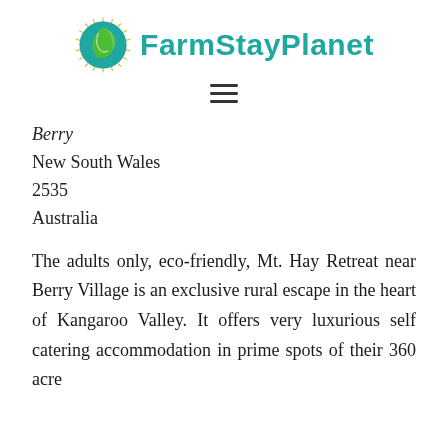FarmStayPlanet
Berry
New South Wales
2535
Australia
The adults only, eco-friendly, Mt. Hay Retreat near Berry Village is an exclusive rural escape in the heart of Kangaroo Valley. It offers very luxurious self catering accommodation in prime spots of their 360 acre